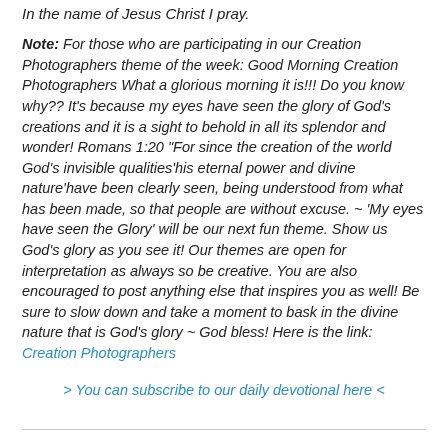In the name of Jesus Christ I pray.
Note: For those who are participating in our Creation Photographers theme of the week: Good Morning Creation Photographers What a glorious morning it is!!! Do you know why?? It's because my eyes have seen the glory of God's creations and it is a sight to behold in all its splendor and wonder! Romans 1:20 "For since the creation of the world God's invisible qualities'his eternal power and divine nature'have been clearly seen, being understood from what has been made, so that people are without excuse. ~ 'My eyes have seen the Glory' will be our next fun theme. Show us God's glory as you see it! Our themes are open for interpretation as always so be creative. You are also encouraged to post anything else that inspires you as well! Be sure to slow down and take a moment to bask in the divine nature that is God's glory ~ God bless! Here is the link: Creation Photographers
> You can subscribe to our daily devotional here <